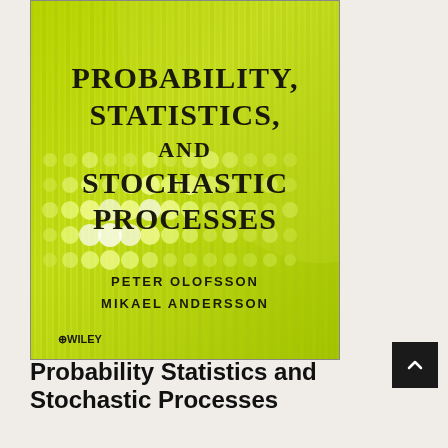[Figure (illustration): Book cover of 'Probability, Statistics, and Stochastic Processes' by Peter Olofsson and Mikael Andersson, published by Wiley. Cover has a green gradient background with circular dot pattern. Title text is in large black serif font, authors listed below, Wiley logo at bottom left.]
Probability Statistics and Stochastic Processes